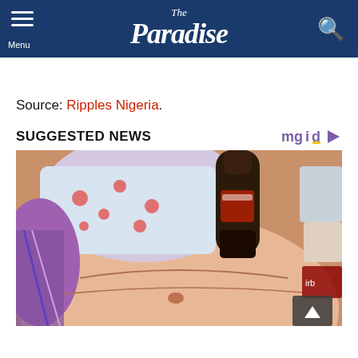The Paradise
Source: Ripples Nigeria.
SUGGESTED NEWS
[Figure (photo): Suggested news thumbnail image showing a person lying down with a soda bottle, with colorful fabric/clothing visible]